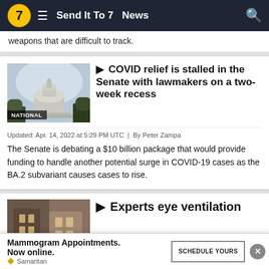Send It To 7  News
weapons that are difficult to track.
COVID relief is stalled in the Senate with lawmakers on a two-week recess
Updated: Apr. 14, 2022 at 5:29 PM UTC  |  By Peter Zampa
The Senate is debating a $10 billion package that would provide funding to handle another potential surge in COVID-19 cases as the BA.2 subvariant causes cases to rise.
Experts eye ventilation
Mammogram Appointments. Now online. Samaritan  SCHEDULE YOURS